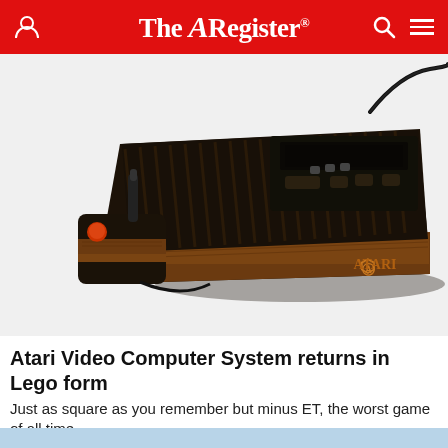The Register
[Figure (photo): Atari 2600 Video Computer System console with wood grain finish and ribbed black top, with a black joystick controller featuring an orange button in the foreground, on a white background.]
Atari Video Computer System returns in Lego form
Just as square as you remember but minus ET, the worst game of all time
OFFBEAT   25 days | 10 💬